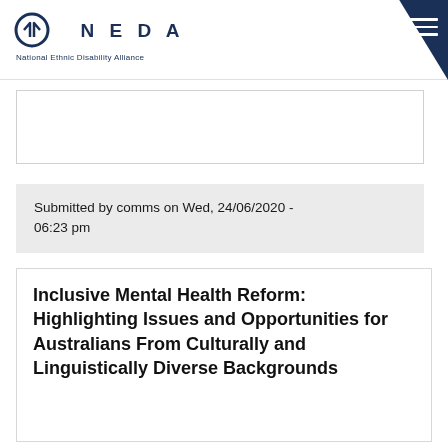NEDA — National Ethnic Disability Alliance
Submitted by comms on Wed, 24/06/2020 - 06:23 pm
Inclusive Mental Health Reform: Highlighting Issues and Opportunities for Australians From Culturally and Linguistically Diverse Backgrounds